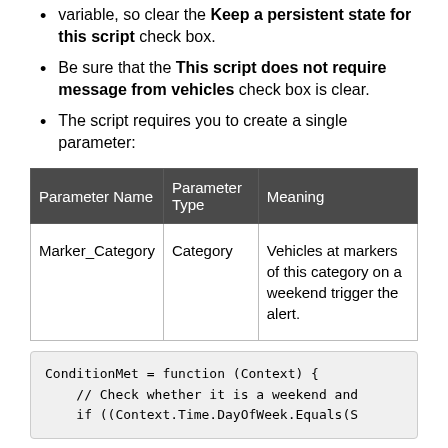variable, so clear the Keep a persistent state for this script check box.
Be sure that the This script does not require message from vehicles check box is clear.
The script requires you to create a single parameter:
| Parameter Name | Parameter Type | Meaning |
| --- | --- | --- |
| Marker_Category | Category | Vehicles at markers of this category on a weekend trigger the alert. |
ConditionMet = function (Context) {
    // Check whether it is a weekend and
    if ((Context.Time.DayOfWeek.Equals(S